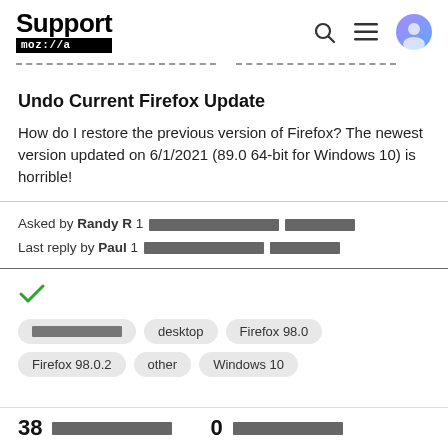Support mozilla
Undo Current Firefox Update
How do I restore the previous version of Firefox? The newest version updated on 6/1/2021 (89.0 64-bit for Windows 10) is horrible!
Asked by Randy R 1 [redacted] Last reply by Paul 1 [redacted]
[Figure (other): Green checkmark indicating resolved/answered status]
Tags: [redacted] desktop Firefox 98.0 Firefox 98.0.2 other Windows 10
38 [redacted] 0 [redacted]